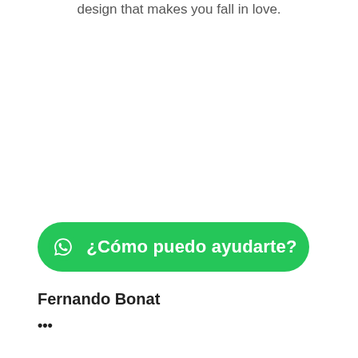design that makes you fall in love.
[Figure (other): WhatsApp contact button with text '¿Cómo puedo ayudarte?' on green rounded pill background]
Fernando Bonat
•••